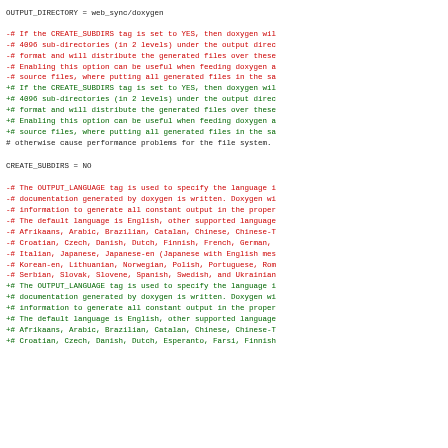OUTPUT_DIRECTORY        = web_sync/doxygen
-# If the CREATE_SUBDIRS tag is set to YES, then doxygen wil
-# 4096 sub-directories (in 2 levels) under the output direc
-# format and will distribute the generated files over these
-# Enabling this option can be useful when feeding doxygen a
-# source files, where putting all generated files in the sa
+# If the CREATE_SUBDIRS tag is set to YES, then doxygen wil
+# 4096 sub-directories (in 2 levels) under the output direc
+# format and will distribute the generated files over these
+# Enabling this option can be useful when feeding doxygen a
+# source files, where putting all generated files in the sa
 # otherwise cause performance problems for the file system.
CREATE_SUBDIRS          = NO
-# The OUTPUT_LANGUAGE tag is used to specify the language i
-# documentation generated by doxygen is written. Doxygen wi
-# information to generate all constant output in the proper
-# The default language is English, other supported language
-# Afrikaans, Arabic, Brazilian, Catalan, Chinese, Chinese-T
-# Croatian, Czech, Danish, Dutch, Finnish, French, German,
-# Italian, Japanese, Japanese-en (Japanese with English mes
-# Korean-en, Lithuanian, Norwegian, Polish, Portuguese, Rom
-# Serbian, Slovak, Slovene, Spanish, Swedish, and Ukrainian
+# The OUTPUT_LANGUAGE tag is used to specify the language i
+# documentation generated by doxygen is written. Doxygen wi
+# information to generate all constant output in the proper
+# The default language is English, other supported language
+# Afrikaans, Arabic, Brazilian, Catalan, Chinese, Chinese-T
+# Croatian, Czech, Danish, Dutch, Esperanto, Farsi, Finnish